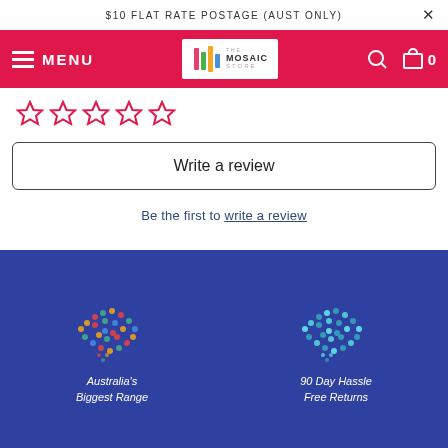$10 FLAT RATE POSTAGE (AUST ONLY)
[Figure (logo): The Mosaic Store logo with colorful bar icon]
[Figure (infographic): Five empty star rating icons in pink/red outline]
Write a review
Be the first to write a review
[Figure (illustration): Map of Australia made of colorful mosaic dots, labeled Australia's Biggest Range]
[Figure (illustration): Map of Australia made of teal/green mosaic dots, labeled 90 Day Hassle Free Returns]